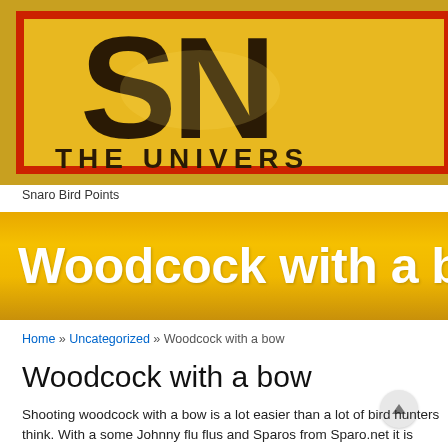[Figure (logo): Snaro brand logo on a yellow background with red border showing large dark text 'SN' and subtitle 'THE UNIVERS' partially visible]
Snaro Bird Points
Woodcock with a bow
Home » Uncategorized » Woodcock with a bow
Woodcock with a bow
Shooting woodcock with a bow is a lot easier than a lot of bird hunters think. With a some Johnny flu flus and Sparos from Sparo.net it is actually great fun and very re...